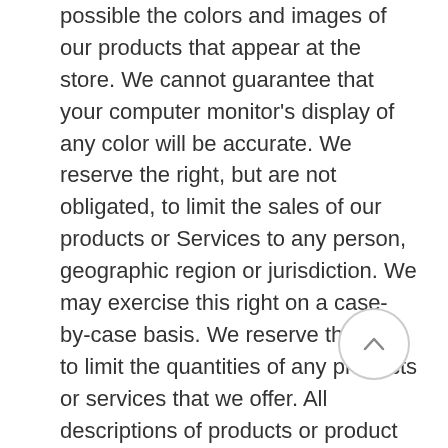possible the colors and images of our products that appear at the store. We cannot guarantee that your computer monitor's display of any color will be accurate. We reserve the right, but are not obligated, to limit the sales of our products or Services to any person, geographic region or jurisdiction. We may exercise this right on a case-by-case basis. We reserve the right to limit the quantities of any products or services that we offer. All descriptions of products or product pricing are subject to change at anytime without notice, at the sole discretion of us. We reserve the right to discontinue any product at any time. Any offer for any product or service made on this site is void where prohibited. We do not warrant that the quality of any products, services, information, or other material purchased or obtained by you will meet